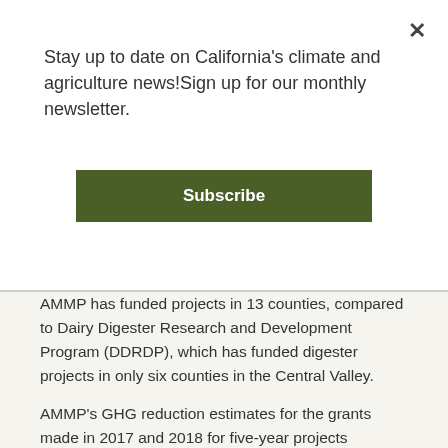Stay up to date on California's climate and agriculture news!Sign up for our monthly newsletter.
Subscribe
AMMP has funded projects in 13 counties, compared to Dairy Digester Research and Development Program (DDRDP), which has funded digester projects in only six counties in the Central Valley.
AMMP's GHG reduction estimates for the grants made in 2017 and 2018 for five-year projects combine to equal 711,382 (MTCO2e over 5 years), representing a significant step towards accomplishing GHG reduction goals.
Next Steps – Make Your Voice Heard
CalCAN is advocating that AMMP receive its own